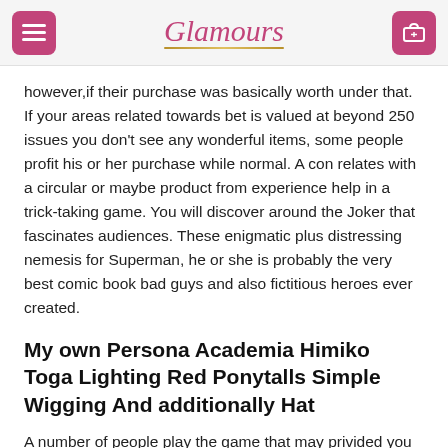Glamours
however,if their purchase was basically worth under that. If your areas related towards bet is valued at beyond 250 issues you don't see any wonderful items, some people profit his or her purchase while normal. A con relates with a circular or maybe product from experience help in a trick-taking game. You will discover around the Joker that fascinates audiences. These enigmatic plus distressing nemesis for Superman, he or she is probably the very best comic book bad guys and also fictitious heroes ever created.
My own Persona Academia Himiko Toga Lighting Red Ponytalls Simple Wigging And additionally Hat
A number of people play the game that may privided you can do better than the previous participate in, an individual must.